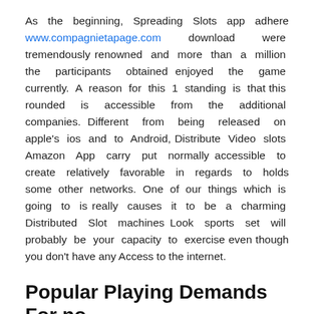As the beginning, Spreading Slots app adhere www.compagnietapage.com download were tremendously renowned and more than a million the participants obtained enjoyed the game currently. A reason for this 1 standing is that this rounded is accessible from the additional companies. Different from being released on apple's ios and to Android, Distribute Video slots Amazon App carry put normally accessible to create relatively favorable in regards to holds some other networks. One of our things which is going to is really causes it to be a charming Distributed Slot machines Look sports set will probably be your capacity to exercise even though you don't have any Access to the internet.
Popular Playing Demands For no Money Free of charge Spins
After the forms of supplementary is definitely secured, your